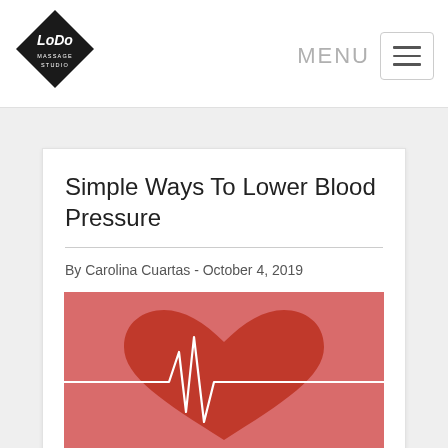[Figure (logo): LoDo Massage Studio diamond-shaped logo in black with white text]
MENU
Simple Ways To Lower Blood Pressure
By Carolina Cuartas - October 4, 2019
[Figure (illustration): Red salmon-pink background with a dark red heart shape containing a white EKG/heartbeat line running horizontally through the center]